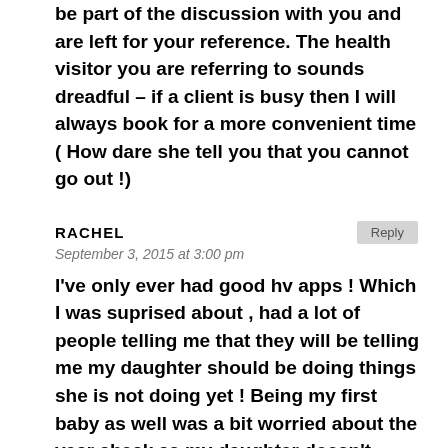be part of the discussion with you and are left for your reference. The health visitor you are referring to sounds dreadful – if a client is busy then I will always book for a more convenient time ( How dare she tell you that you cannot go out !)
RACHEL
September 3, 2015 at 3:00 pm
I've only ever had good hv apps ! Which I was suprised about , had a lot of people telling me that they will be telling me my daughter should be doing things she is not doing yet ! Being my first baby as well was a bit worried about the year check as my daughter doesn't stand up unaided/ walk or crawl ! But my hv was so lovely and told me not to worry as all babies develop and do things in there own time . I have never really